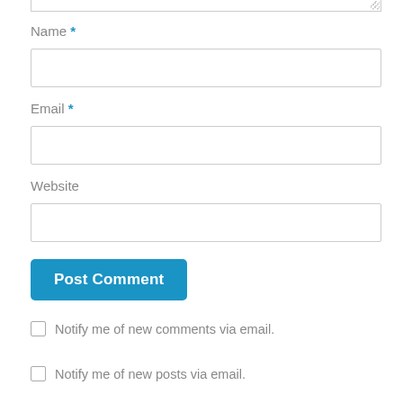[Figure (screenshot): Bottom portion of a web comment form showing textarea bottom edge, Name field with asterisk, Email field with asterisk, Website field, Post Comment button, and two checkbox rows for email notifications.]
Name *
Email *
Website
Post Comment
Notify me of new comments via email.
Notify me of new posts via email.